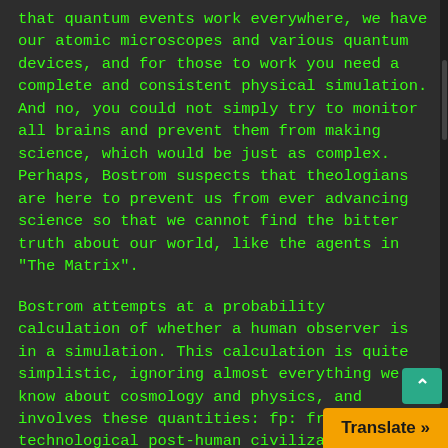that quantum events work everywhere, we have our atomic microscopes and various quantum devices, and for those to work you need a complete and consistent physical simulation. And no, you could not simply try to monitor all brains and prevent them from making science, which would be just as complex. Perhaps, Bostrom suspects that theologians are here to prevent us from ever advancing science so that we cannot find the bitter truth about our world, like the agents in "The Matrix".
Bostrom attempts at a probability calculation of whether a human observer is in a simulation. This calculation is quite simplistic, ignoring almost everything we know about cosmology and physics, and involves these quantities: fp: fraction of technological post-human civilizations, navg: average number of ancestor simulations run by a post-human civilization, havg: average number of "humans" that lived...